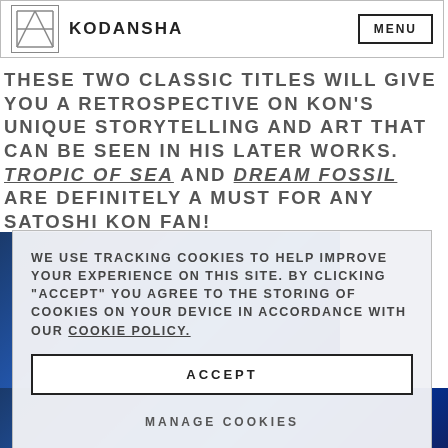KODANSHA | MENU
THESE TWO CLASSIC TITLES WILL GIVE YOU A RETROSPECTIVE ON KON'S UNIQUE STORYTELLING AND ART THAT CAN BE SEEN IN HIS LATER WORKS. TROPIC OF SEA AND DREAM FOSSIL ARE DEFINITELY A MUST FOR ANY SATOSHI KON FAN!
[Figure (photo): Blue abstract/artistic image, appears twice as strips above and below the cookie consent dialog]
WE USE TRACKING COOKIES TO HELP IMPROVE YOUR EXPERIENCE ON THIS SITE. BY CLICKING "ACCEPT" YOU AGREE TO THE STORING OF COOKIES ON YOUR DEVICE IN ACCORDANCE WITH OUR COOKIE POLICY.
ACCEPT
MANAGE COOKIES